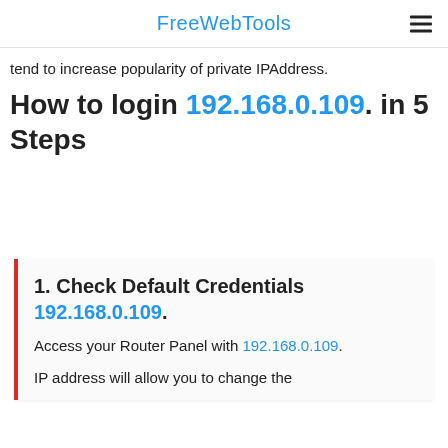FreeWebTools
tend to increase popularity of private IPAddress.
How to login 192.168.0.109. in 5 Steps
1. Check Default Credentials 192.168.0.109.
Access your Router Panel with 192.168.0.109.
IP address will allow you to change the